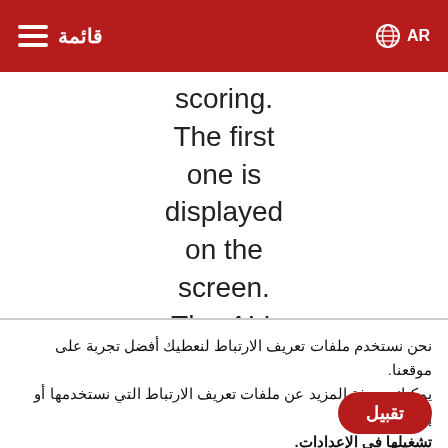قائمة  AR
scoring. The first one is displayed on the screen. The ALL column shows the scores
نحن نستخدم ملفات تعريف الارتباط لنعطيك أفضل تجربة على موقعنا. يمكنك معرفة المزيد عن ملفات تعريف الارتباط التي نستخدمها أو إيقاف تشغيلها في الإعدادات.
تقبيل